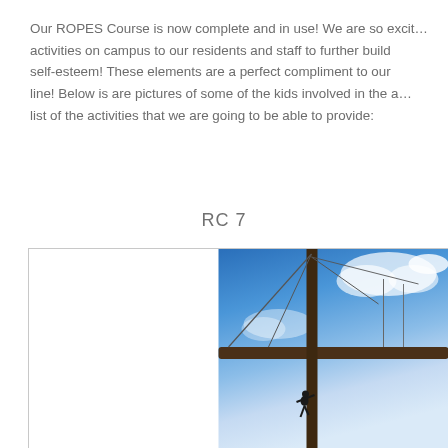Our ROPES Course is now complete and in use! We are so excited to bring these activities on campus to our residents and staff to further build confidence and self-esteem! These elements are a perfect compliment to our existing zip line! Below is are pictures of some of the kids involved in the activities and a list of the activities that we are going to be able to provide:
RC 7
[Figure (photo): Outdoor ropes course photo showing a wooden pole and horizontal beam structure with cables/wires against a blue sky with white clouds. A person silhouette is visible climbing near the bottom of the pole.]